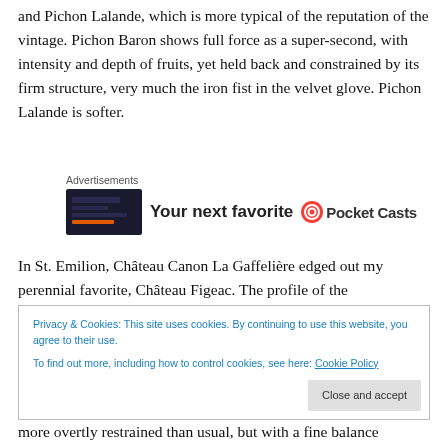and Pichon Lalande, which is more typical of the reputation of the vintage. Pichon Baron shows full force as a super-second, with intensity and depth of fruits, yet held back and constrained by its firm structure, very much the iron fist in the velvet glove. Pichon Lalande is softer.
[Figure (other): Advertisement banner showing a dark mobile app screenshot, bold text 'Your next favorite', and the Pocket Casts logo/name partially visible]
In St. Emilion, Château Canon La Gaffelière edged out my perennial favorite, Château Figeac. The profile of the
Privacy & Cookies: This site uses cookies. By continuing to use this website, you agree to their use.
To find out more, including how to control cookies, see here: Cookie Policy
more overtly restrained than usual, but with a fine balance